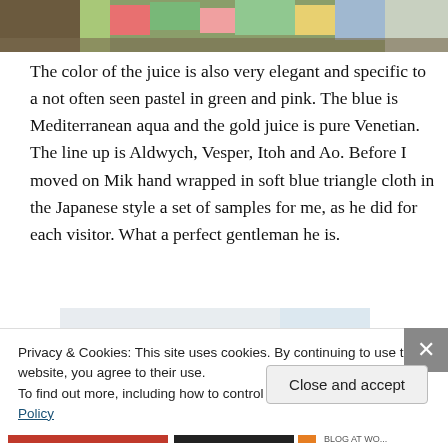[Figure (photo): Top portion of a photo showing colorful items, appears to be green and pink pastel colored objects]
The color of the juice is also very elegant and specific to a not often seen pastel in green and pink. The blue is Mediterranean aqua and the gold juice is pure Venetian. The line up is Aldwych, Vesper, Itoh and Ao. Before I moved on Mik hand wrapped in soft blue triangle cloth in the Japanese style a set of samples for me, as he did for each visitor. What a perfect gentleman he is.
[Figure (photo): Bottom portion showing a person's head and a bright/light background]
Privacy & Cookies: This site uses cookies. By continuing to use this website, you agree to their use.
To find out more, including how to control cookies, see here: Cookie Policy
Close and accept